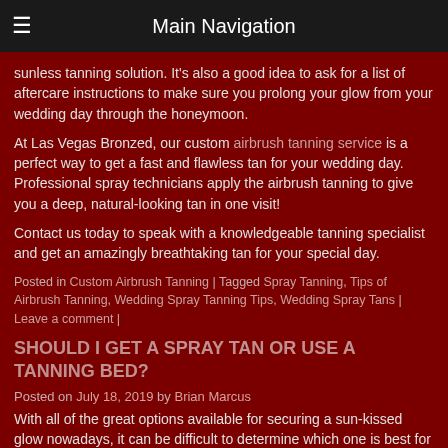Main Navigation
sunless tanning solution. It's also a good idea to ask for a list of aftercare instructions to make sure you prolong your glow from your wedding day through the honeymoon.
At Las Vegas Bronzed, our custom airbrush tanning service is a perfect way to get a fast and flawless tan for your wedding day. Professional spray technicians apply the airbrush tanning to give you a deep, natural-looking tan in one visit!
Contact us today to speak with a knowledgeable tanning specialist and get an amazingly breathtaking tan for your special day.
Posted in Custom Airbrush Tanning | Tagged Spray Tanning, Tips of Airbrush Tanning, Wedding Spray Tanning Tips, Wedding Spray Tans | Leave a comment |
SHOULD I GET A SPRAY TAN OR USE A TANNING BED?
Posted on July 18, 2019 by Brian Marcus
With all of the great options available for securing a sun-kissed glow nowadays, it can be difficult to determine which one is best for you! Should you try a spray tan? The classic tanning booth? Would a